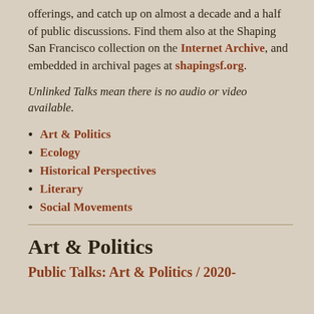offerings, and catch up on almost a decade and a half of public discussions. Find them also at the Shaping San Francisco collection on the Internet Archive, and embedded in archival pages at shapingsf.org.
Unlinked Talks mean there is no audio or video available.
Art & Politics
Ecology
Historical Perspectives
Literary
Social Movements
Art & Politics
Public Talks: Art & Politics / 2020-